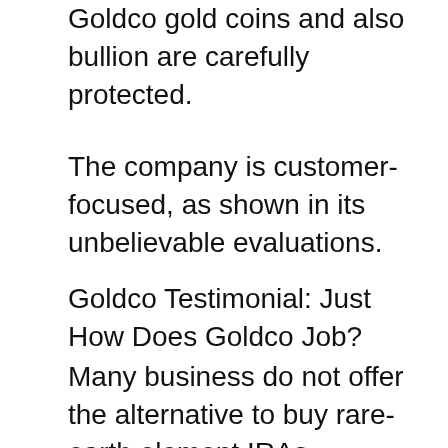Goldco gold coins and also bullion are carefully protected.
The company is customer-focused, as shown in its unbelievable evaluations.
Goldco Testimonial: Just How Does Goldco Job?
Many business do not offer the alternative to buy rare-earth element IRAs, restricting employees to stocks, bonds, ETFs, as well as other paper assets.
[Figure (other): Red to gold gradient call-to-action button with text GET THEIR FREE GUIDE]